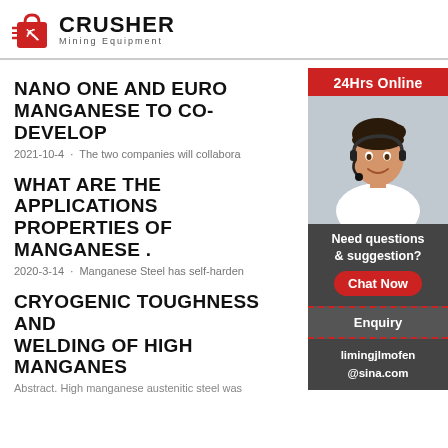[Figure (logo): Crusher Mining Equipment logo with red shopping bag icon with mining pick and bold CRUSHER text]
NANO ONE AND EURO MANGANESE TO CO-DEVELOP
2021-10-4 · The two companies will collabora
WHAT ARE THE APPLICATIONS PROPERTIES OF MANGANESE .
2020-3-14 · Manganese Steel has self-harden
CRYOGENIC TOUGHNESS AND WELDING OF HIGH MANGANES
Abstract. High manganese austenitic steel was
[Figure (photo): Woman with headset smiling, customer service representative, with 24Hrs Online red banner at top, and sidebar with Need questions & suggestion text, Chat Now red button, Enquiry link, limingjlmofen@sina.com email]